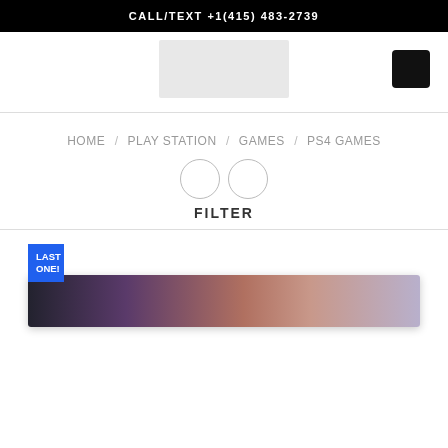CALL/TEXT +1(415) 483-2739
[Figure (logo): Store logo placeholder image]
HOME / PLAY STATION / GAMES / PS4 GAMES
FILTER
[Figure (photo): Product image showing a thin device (laptop or tablet) with colorful abstract wallpaper, with a blue 'LAST ONE!' badge overlay]